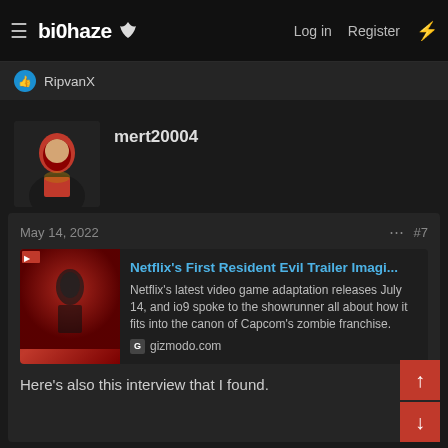biohaze — Log in  Register
RipvanX
mert20004
May 14, 2022  #7
[Figure (screenshot): Link preview card for Netflix's First Resident Evil Trailer article on gizmodo.com with red thumbnail image]
Netflix's First Resident Evil Trailer Imagi...
Netflix's latest video game adaptation releases July 14, and io9 spoke to the showrunner all about how it fits into the canon of Capcom's zombie franchise.
gizmodo.com
Here's also this interview that I found.
Caffeine Addict